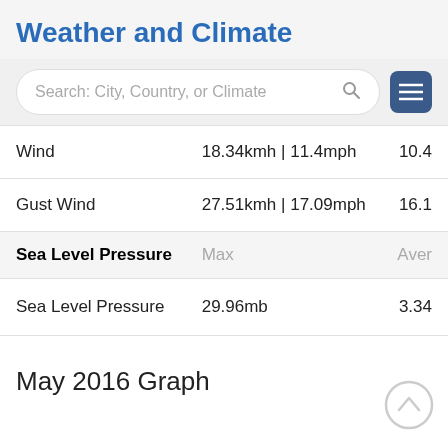Weather and Climate
[Figure (screenshot): Search bar with text 'Search: City, Country, or Climate' and a hamburger menu icon]
|  | Max | Aver |
| --- | --- | --- |
| Wind | 18.34kmh | 11.4mph | 10.4 |
| Gust Wind | 27.51kmh | 17.09mph | 16.1 |
| Sea Level Pressure | Max | Aver |
| Sea Level Pressure | 29.96mb | 3.34 |
May 2016 Graph